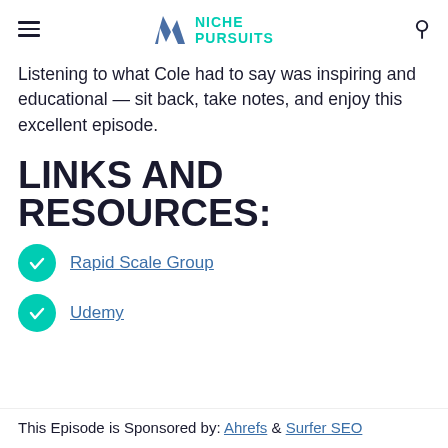Niche Pursuits
Listening to what Cole had to say was inspiring and educational — sit back, take notes, and enjoy this excellent episode.
LINKS AND RESOURCES:
Rapid Scale Group
Udemy
This Episode is Sponsored by: Ahrefs & Surfer SEO